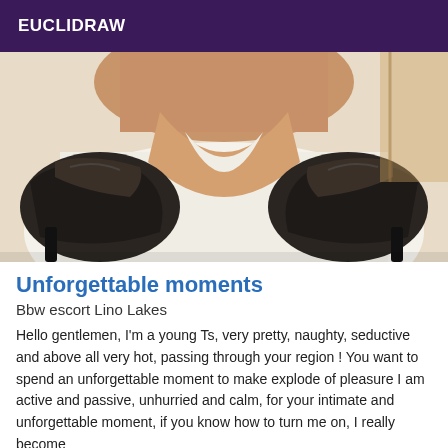EUCLIDRAW
[Figure (photo): Photo showing a person from behind, wearing black high heels and black accessories, lying on white bedding]
Unforgettable moments
Bbw escort Lino Lakes
Hello gentlemen, I'm a young Ts, very pretty, naughty, seductive and above all very hot, passing through your region ! You want to spend an unforgettable moment to make explode of pleasure I am active and passive, unhurried and calm, for your intimate and unforgettable moment, if you know how to turn me on, I really become